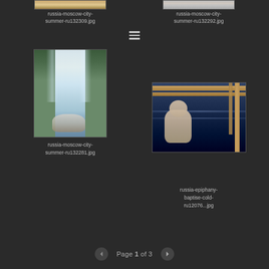[Figure (photo): Partial top of photo: russia-moscow-city-summer-ru132309.jpg - cropped top portion visible]
russia-moscow-city-summer-ru132309.jpg
[Figure (photo): Partial top of photo: russia-moscow-city-summer-ru132292.jpg - cropped top portion visible]
russia-moscow-city-summer-ru132292.jpg
[Figure (photo): Person under waterfall/water spray - russia-moscow-city-summer-ru132281.jpg]
russia-moscow-city-summer-ru132281.jpg
[Figure (photo): Man in cold water with wooden structure - russia-epiphany-baptise-cold-ru12076...jpg]
russia-epiphany-baptise-cold-ru12076...jpg
Page 1 of 3